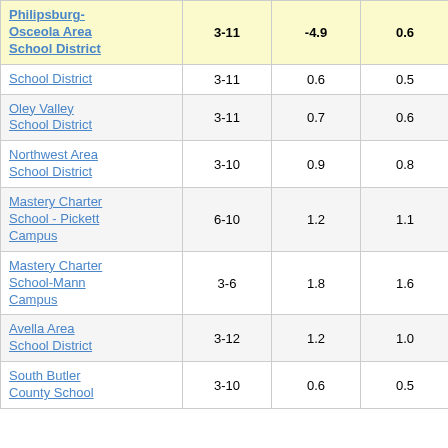| School District | Grades | Col3 | Col4 | Score |
| --- | --- | --- | --- | --- |
| Philipsburg-Osceola Area School District | 3-11 | -4.9 | 0.6 | -8.59 |
| School District | 3-11 | 0.6 | 0.5 | 1.08 |
| Oley Valley School District | 3-11 | 0.7 | 0.6 | 1.09 |
| Northwest Area School District | 3-10 | 0.9 | 0.8 | 1.12 |
| Mastery Charter School - Pickett Campus | 6-10 | 1.2 | 1.1 | 1.12 |
| Mastery Charter School-Mann Campus | 3-6 | 1.8 | 1.6 | 1.13 |
| Avella Area School District | 3-12 | 1.2 | 1.0 | 1.13 |
| South Butler County School | 3-10 | 0.6 | 0.5 | 1.13 |